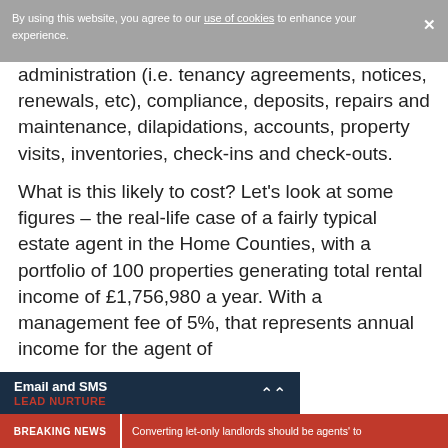By using this website, you agree to our use of cookies to enhance your experience.
administration (i.e. tenancy agreements, notices, renewals, etc), compliance, deposits, repairs and maintenance, dilapidations, accounts, property visits, inventories, check-ins and check-outs.
What is this likely to cost? Let's look at some figures – the real-life case of a fairly typical estate agent in the Home Counties, with a portfolio of 100 properties generating total rental income of £1,756,980 a year. With a management fee of 5%, that represents annual income for the agent of
Email and SMS LEAD NURTURE
BREAKING NEWS | Converting let-only landlords should be agents' to